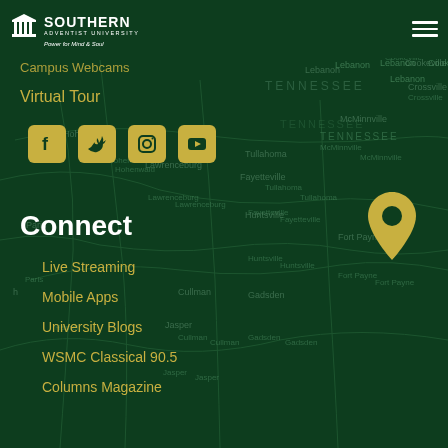[Figure (map): Green-tinted map of Tennessee and surrounding region showing city labels including Lebanon, Cookeville, Crossville, McMinnville, Hohenwald, Tullahoma, Lawrenceburg, Fayetteville, Huntsville, Fort Payne, Cullman, Gadsden, Jasper, Hamel, Paris with road/highway overlays. A yellow map pin marker is shown in the lower right area.]
Southern Adventist University — Power for Mind & Soul
Campus Webcams
Virtual Tour
Connect
Live Streaming
Mobile Apps
University Blogs
WSMC Classical 90.5
Columns Magazine